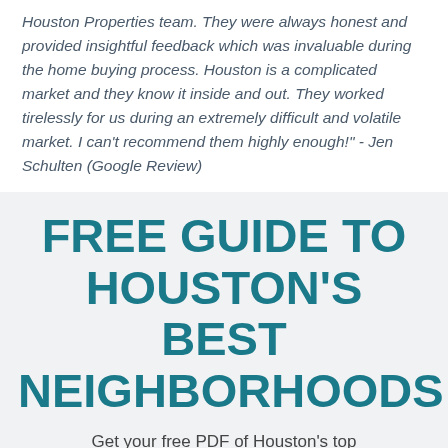Houston Properties team. They were always honest and provided insightful feedback which was invaluable during the home buying process. Houston is a complicated market and they know it inside and out. They worked tirelessly for us during an extremely difficult and volatile market. I can't recommend them highly enough!" - Jen Schulten (Google Review)
FREE GUIDE TO HOUSTON'S BEST NEIGHBORHOODS
Get your free PDF of Houston's top neighborhoods (based on flooding,